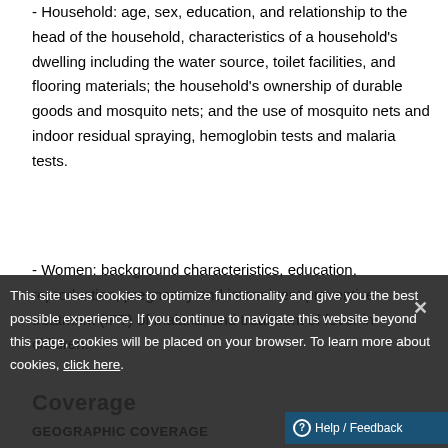- Household: age, sex, education, and relationship to the head of the household, characteristics of a household's dwelling including the water source, toilet facilities, and flooring materials; the household's ownership of durable goods and mosquito nets; and the use of mosquito nets and indoor residual spraying, hemoglobin tests and malaria tests.
- Women: background characteristics, education, reproduction, pregnancy and intermittent preventive treatment (IPT) of malaria; and treatment of fever in children.
Coverage
GEOGRAPHIC COVERAGE
This site uses cookies to optimize functionality and give you the best possible experience. If you continue to navigate this website beyond this page, cookies will be placed on your browser. To learn more about cookies, click here.